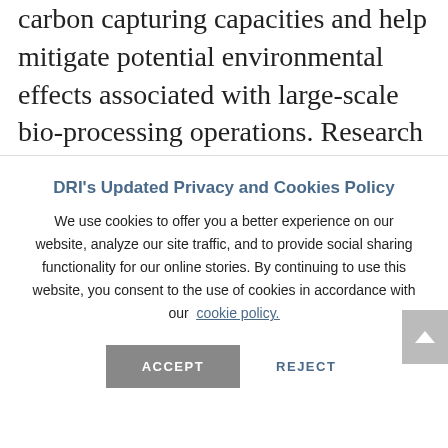carbon capturing capacities and help mitigate potential environmental effects associated with large-scale bio-processing operations. Research within DRI's Systems Microbial Ecology Lab
DRI's Updated Privacy and Cookies Policy
We use cookies to offer you a better experience on our website, analyze our site traffic, and to provide social sharing functionality for our online stories. By continuing to use this website, you consent to the use of cookies in accordance with our cookie policy.